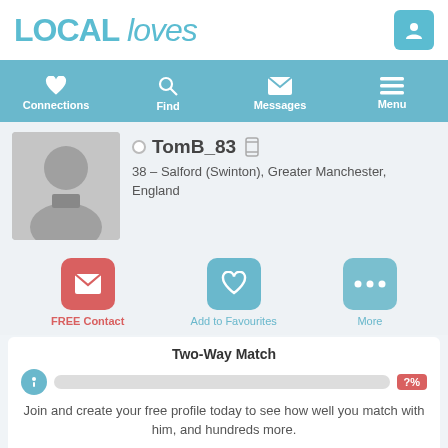LOCAL loves
Connections | Find | Messages | Menu
[Figure (illustration): Generic male silhouette avatar placeholder in grey]
TomB_83 — 38 – Salford (Swinton), Greater Manchester, England
FREE Contact | Add to Favourites | More
Two-Way Match
Join and create your free profile today to see how well you match with him, and hundreds more.
Join now
Online: More than 6 months ago